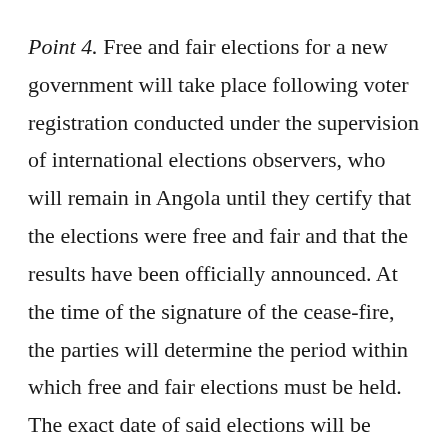Point 4. Free and fair elections for a new government will take place following voter registration conducted under the supervision of international elections observers, who will remain in Angola until they certify that the elections were free and fair and that the results have been officially announced. At the time of the signature of the cease-fire, the parties will determine the period within which free and fair elections must be held. The exact date of said elections will be established through consultation with all political forces in Angola.